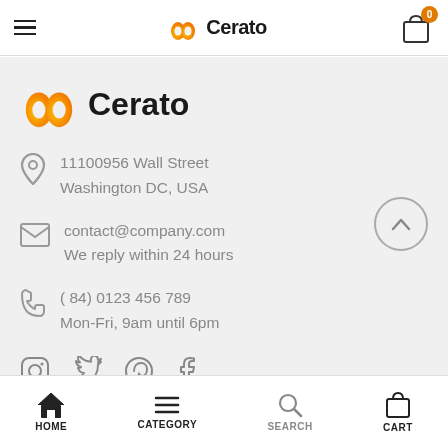Cerato — navigation bar with hamburger menu, logo, and cart (0)
[Figure (logo): Cerato brand logo with orange flame/loop icon and bold 'Cerato' text]
11100956 Wall Street
Washington DC, USA
contact@company.com
We reply within 24 hours
( 84) 0123 456 789
Mon-Fri, 9am until 6pm
[Figure (illustration): Social media icons: Instagram, Twitter, Pinterest, Facebook]
HOME | CATEGORY | SEARCH | CART